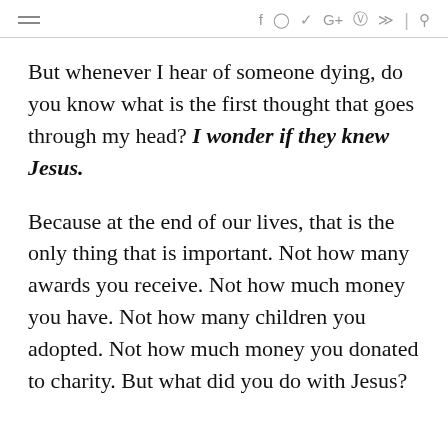≡  f  ○  𝕐  G+  𝔭  ⋙  |  🔍
But whenever I hear of someone dying, do you know what is the first thought that goes through my head? I wonder if they knew Jesus.
Because at the end of our lives, that is the only thing that is important. Not how many awards you receive. Not how much money you have. Not how many children you adopted. Not how much money you donated to charity. But what did you do with Jesus?